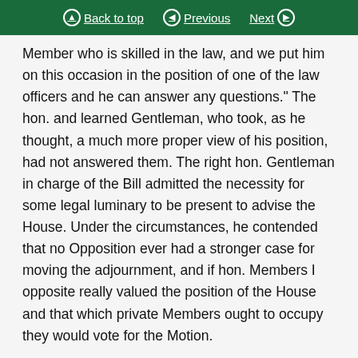Back to top | Previous | Next
Member who is skilled in the law, and we put him on this occasion in the position of one of the law officers and he can answer any questions." The hon. and learned Gentleman, who took, as he thought, a much more proper view of his position, had not answered them. The right hon. Gentleman in charge of the Bill admitted the necessity for some legal luminary to be present to advise the House. Under the circumstances, he contended that no Opposition ever had a stronger case for moving the adjournment, and if hon. Members I opposite really valued the position of the House and that which private Members ought to occupy they would vote for the Motion.
MR. F. E. SMITH